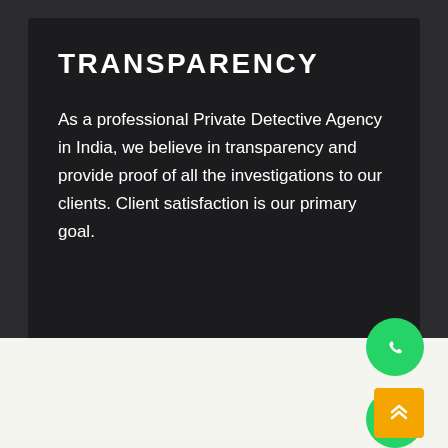TRANSPARENCY
As a professional Private Detective Agency in India, we believe in transparency and provide proof of all the investigations to our clients. Client satisfaction is our primary goal.
[Figure (illustration): Green circular WhatsApp icon button]
[Figure (illustration): Green circular phone/call icon button]
[Figure (illustration): Orange square scroll-to-top button with double chevron up arrows]